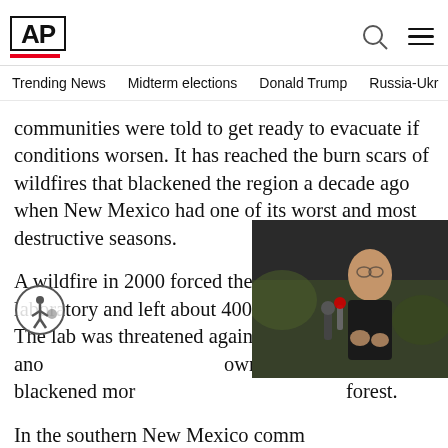AP
Trending News  Midterm elections  Donald Trump  Russia-Ukr
communities were told to get ready to evacuate if conditions worsen. It has reached the burn scars of wildfires that blackened the region a decade ago when New Mexico had one of its worst and most destructive seasons.
A wildfire in 2000 forced the closure of the laboratory and left about 400 people homeless. The lab was threatened again in 2011 when another fire started by a downed power line blackened more than 60 square miles of forest.
In the southern New Mexico comm people were killed in a wildfire tha